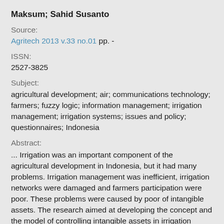Maksum; Sahid Susanto
Source:
Agritech 2013 v.33 no.01 pp. -
ISSN:
2527-3825
Subject:
agricultural development; air; communications technology; farmers; fuzzy logic; information management; irrigation management; irrigation systems; issues and policy; questionnaires; Indonesia
Abstract:
... Irrigation was an important component of the agricultural development in Indonesia, but it had many problems. Irrigation management was inefficient, irrigation networks were damaged and farmers participation were poor. These problems were caused by poor of intangible assets. The research aimed at developing the concept and the model of controlling intangible assets in irrigation system management.